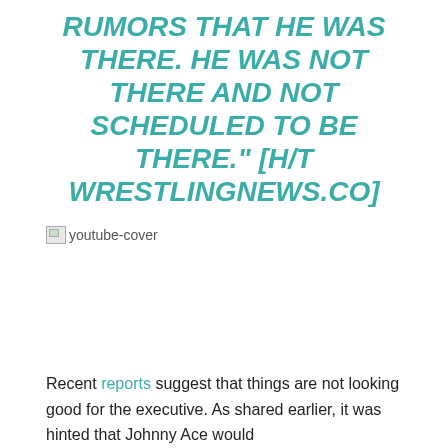RUMORS THAT HE WAS THERE. HE WAS NOT THERE AND NOT SCHEDULED TO BE THERE." [H/T WRESTLINGNEWS.CO]
[Figure (other): Broken image placeholder labeled youtube-cover]
Recent reports suggest that things are not looking good for the executive. As shared earlier, it was hinted that Johnny Ace would